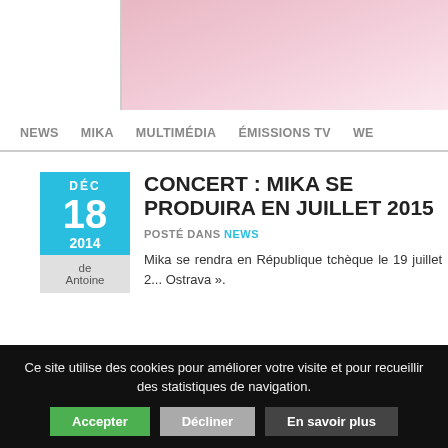[Figure (photo): Partial photo of a person wearing pink, cropped at top of page]
NEWS   MIKA   MULTIMÉDIA   ÉMISSIONS TV   WE
CONCERT : MIKA SE PRODUIRA EN JUILLET 2015
POSTÉ DANS NEWS
Mika se rendra en République tchèque le 19 juillet 2... Ostrava ».
Ce site utilise des cookies pour améliorer votre visite et pour recueillir des statistiques de navigation.